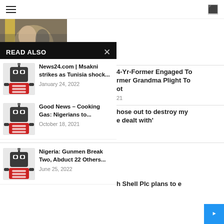☰ [navigation bar]
[Figure (photo): Partially visible photo of people, top-left corner]
May 25, 2021
READ ALSO
[Figure (illustration): Robot/news icon thumbnail]
News24.com | Msakni strikes as Tunisia shock...
January 24, 2022
[Figure (illustration): Robot/news icon thumbnail]
Good News – Cooking Gas: Nigerians to...
October 18, 2021
[Figure (illustration): Robot/news icon thumbnail]
Nigeria: Gunmen Break Two, Abduct 22 Others...
June 25, 2022
4-Yr-Former Engaged To rmer Grandma Plight To ot
21
hose out to destroy my e dealt with'
h Shell Plc plans to e